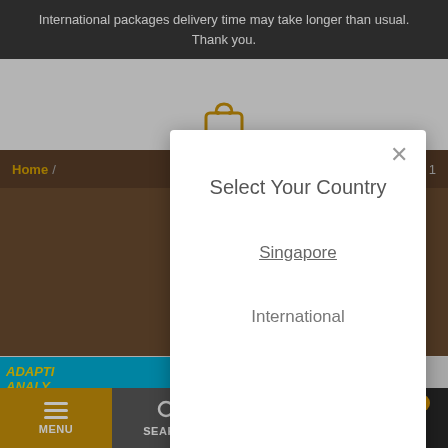International packages delivery time may take longer than usual. Thank you.
[Figure (screenshot): Website screenshot showing a country selection modal dialog. Background shows a bookstore/education website with a dark brown navigation bar with 'Home' link and 'y Level 1' breadcrumb, a product carousel with 'ADAPTIVE ANALYTICS' blue banner and '40 YEARS education' badge. A white modal dialog centered on screen reads 'Select Your Country' with options 'Singapore' (underlined) and 'International'. An X close button is in the top right of the modal. Bottom navigation bar has MENU (gold), SEARCH (gray), ACCOUNT (dark), and CART (darkest) with orange badge showing 0.]